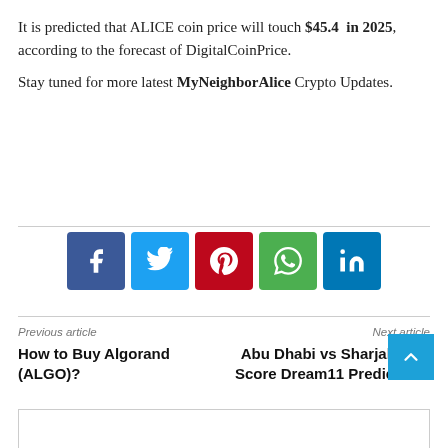It is predicted that ALICE coin price will touch $45.4 in 2025, according to the forecast of DigitalCoinPrice.

Stay tuned for more latest MyNeighborAlice Crypto Updates.
[Figure (infographic): Social media share buttons: Facebook (blue), Twitter (light blue), Pinterest (red), WhatsApp (green), LinkedIn (dark blue)]
Previous article
How to Buy Algorand (ALGO)?
Next article
Abu Dhabi vs Sharjah Live Score Dream11 Predictions